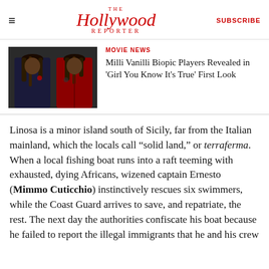The Hollywood Reporter | SUBSCRIBE
[Figure (photo): Two young men posed side by side, one in a dark suit with floral detail, one in a red suit, both with long dreadlocks, on a dark studio background.]
MOVIE NEWS — Milli Vanilli Biopic Players Revealed in 'Girl You Know It's True' First Look
Linosa is a minor island south of Sicily, far from the Italian mainland, which the locals call “solid land,” or terraferma. When a local fishing boat runs into a raft teeming with exhausted, dying Africans, wizened captain Ernesto (Mimmo Cuticchio) instinctively rescues six swimmers, while the Coast Guard arrives to save, and repatriate, the rest. The next day the authorities confiscate his boat because he failed to report the illegal immigrants that he and his crew